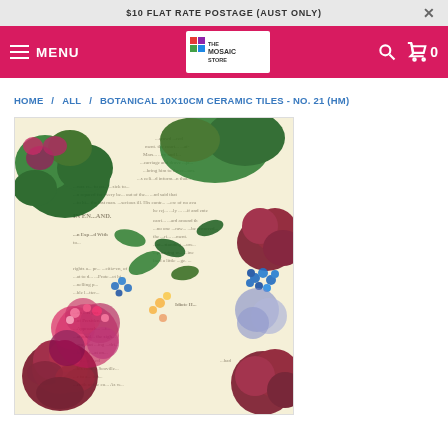$10 FLAT RATE POSTAGE (AUST ONLY)
[Figure (logo): The Mosaic Store logo with colorful tile icon and text]
MENU
HOME / ALL / BOTANICAL 10X10CM CERAMIC TILES - NO. 21 (HM)
[Figure (photo): Botanical 10x10cm ceramic tile product image showing vintage newspaper print with colorful botanical flowers overlay including roses, hydrangeas, and green foliage]